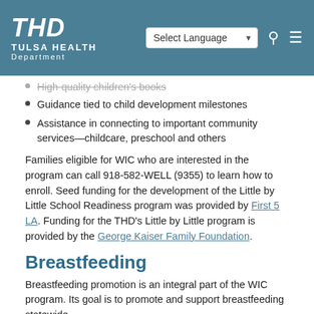[Figure (logo): Tulsa Health Department logo with THD initials and navigation bar including Select Language dropdown, search icon, and hamburger menu]
High-quality children's books (partially visible, struck through)
Guidance tied to child development milestones
Assistance in connecting to important community services—childcare, preschool and others
Families eligible for WIC who are interested in the program can call 918-582-WELL (9355) to learn how to enroll. Seed funding for the development of the Little by Little School Readiness program was provided by First 5 LA. Funding for the THD's Little by Little program is provided by the George Kaiser Family Foundation.
Breastfeeding
Breastfeeding promotion is an integral part of the WIC program. Its goal is to promote and support breastfeeding statewide.
Mothers who breastfeed are eligible to receive WIC benefits longer than non-breastfeeding mothers.
Mothers who breastfeed their infants will receive (partially visible)